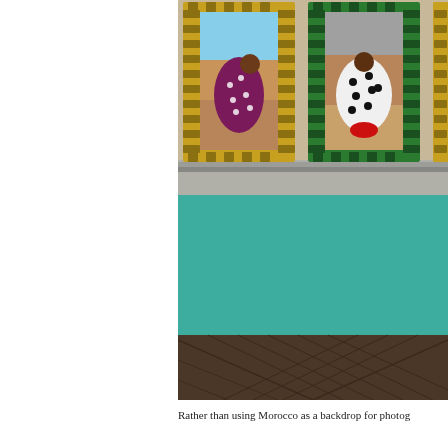[Figure (photo): Gallery interior with teal/turquoise painted walls and dark herringbone wood floor. Three large framed photographs hang on the wall, each bordered with decorative film-strip style frames with yellow and green borders. The left photo shows a figure in a dark polka-dot garment in a desert setting. The center photo shows a figure in a white polka-dot garment in a desert setting. A third partial photo is visible on the right. The lower half shows the teal wall and the dark wood herringbone parquet floor.]
Rather than using Morocco as a backdrop for fashion photo